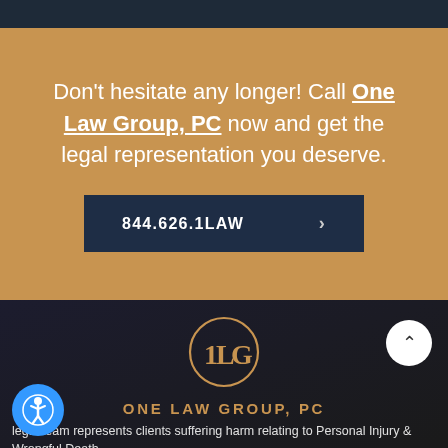Don't hesitate any longer! Call One Law Group, PC now and get the legal representation you deserve.
844.626.1LAW
[Figure (logo): One Law Group, PC circular monogram logo with stylized 1LG in gold]
ONE LAW GROUP, PC
legal team represents clients suffering harm relating to Personal Injury & Wrongful Death.